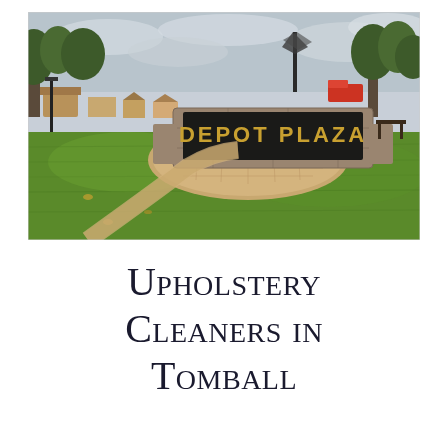[Figure (photo): Outdoor photo of Depot Plaza in Tomball. A stone monument sign reads 'DEPOT PLAZA' with gold lettering, surrounded by a circular brick paved area. Green lawn in the foreground, trees and buildings visible in the background under an overcast sky.]
Upholstery Cleaners in Tomball